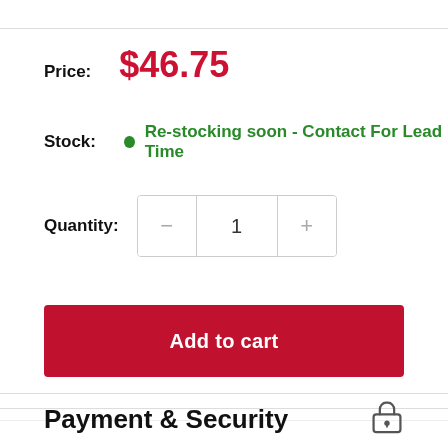Price: $46.75
Stock: Re-stocking soon - Contact For Lead Time
Quantity: 1
Add to cart
Payment & Security